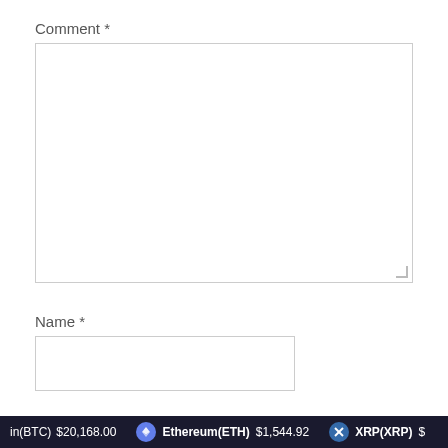Comment *
[Figure (screenshot): Empty comment textarea input box with resize handle]
Name *
[Figure (screenshot): Empty name text input box]
Email *
in(BTC) $20,168.00  Ethereum(ETH) $1,544.92  XRP(XRP) $